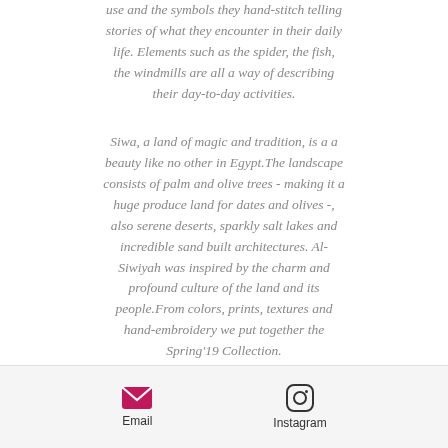use and the symbols they hand-stitch telling stories of what they encounter in their daily life. Elements such as the spider, the fish, the windmills are all a way of describing their day-to-day activities.
Siwa, a land of magic and tradition, is a a beauty like no other in Egypt.The landscape consists of palm and olive trees - making it a huge produce land for dates and olives -, also serene deserts, sparkly salt lakes and incredible sand built architectures. Al-Siwiyah was inspired by the charm and profound culture of the land and its people.From colors, prints, textures and hand-embroidery we put together the Spring'19 Collection.
Email  Instagram